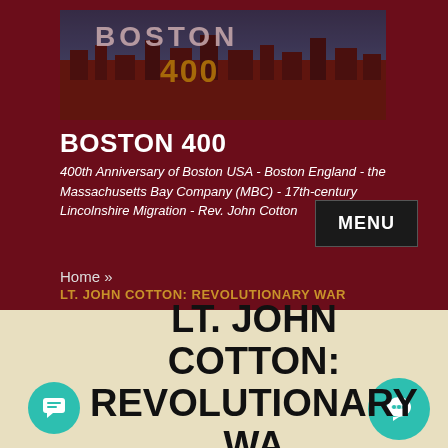[Figure (screenshot): Boston 400 website banner image showing city skyline with 'BOSTON 400' text overlay in red and gold]
BOSTON 400
400th Anniversary of Boston USA - Boston England - the Massachusetts Bay Company (MBC) - 17th-century Lincolnshire Migration - Rev. John Cotton
MENU
Home »
LT. JOHN COTTON: REVOLUTIONARY WAR
LT. JOHN COTTON: REVOLUTIONARY WAR